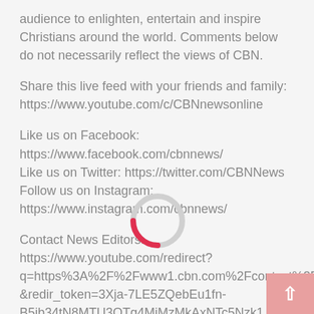audience to enlighten, entertain and inspire Christians around the world. Comments below do not necessarily reflect the views of CBN.
Share this live feed with your friends and family: https://www.youtube.com/c/CBNnewsonline
Like us on Facebook: https://www.facebook.com/cbnnews/
Like us on Twitter: https://twitter.com/CBNNews
Follow us on Instagram: https://www.instagram.com/cbnnews/
Contact News Editors: https://www.youtube.com/redirect?q=https%3A%2F%2Fwww1.cbn.com%2Fcontact%2Fc&redir_token=3Xja-7LE5ZQebEu1fn-B5ib34tN8MTU3OTg4MjMzMkAxNTc5Nzk1...&v
[Figure (other): Loading spinner: a circular spinner with a red/pink arc on a gray circle background, indicating content is loading.]